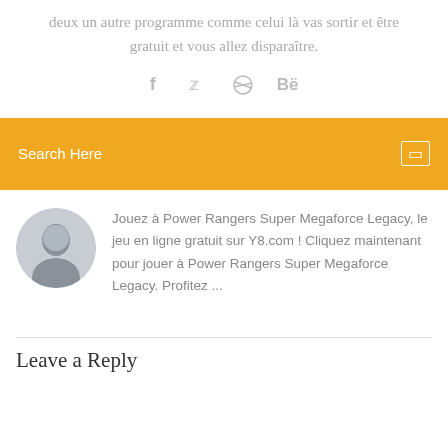deux un autre programme comme celui là vas sortir et être gratuit et vous allez disparaître.
[Figure (other): Social media share icons: Facebook (f), Twitter (bird), Dribbble (circle with lines), Behance (Be)]
Search Here
Jouez à Power Rangers Super Megaforce Legacy, le jeu en ligne gratuit sur Y8.com ! Cliquez maintenant pour jouer à Power Rangers Super Megaforce Legacy. Profitez ...
Leave a Reply